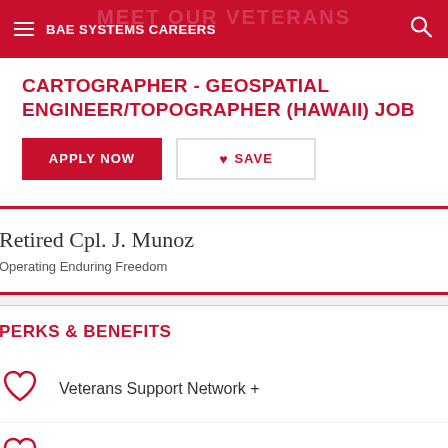BAE SYSTEMS CAREERS
CARTOGRAPHER - GEOSPATIAL ENGINEER/TOPOGRAPHER (HAWAII) JOB
APPLY NOW | SAVE
Retired Cpl. J. Munoz
Operating Enduring Freedom
PERKS & BENEFITS
Veterans Support Network +
Health & Wellness +
Financial / partial (cut off)